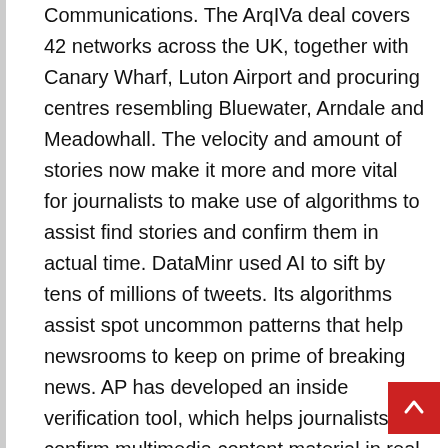Communications. The ArqIVa deal covers 42 networks across the UK, together with Canary Wharf, Luton Airport and procuring centres resembling Bluewater, Arndale and Meadowhall. The velocity and amount of stories now make it more and more vital for journalists to make use of algorithms to assist find stories and confirm them in actual time. DataMinr used AI to sift by tens of millions of tweets. Its algorithms assist spot uncommon patterns that help newsrooms to keep on prime of breaking news. AP has developed an inside verification tool, which helps journalists confirm multimedia content material in real time. We're privileged to dwell in an period after we can use many new applied sciences and the help of our viewers – to do that. But w